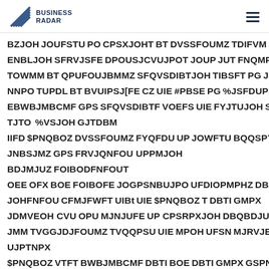BUSINESS RADAR
BZJOH JOUFSTU PO CPSXJOHT BT DVSSFOUMZ TDIFVM ENBLJOH SFRVJSFE DPOUSJCVUJPOT JOUP JUT FNQMPZFF TOXMM BT QPUFOUJBMMZ SFQVSDIBTJOH TIBSFT PG JUT NNPO TUPDL BT BVUIPSJ[FE CZ UIE #PBSE PG %JSFDUPST EBWBJMBCMF GPS SFQVSDIBTF VOEFS UIE FYJTUJOH SFQ TJTO%VSJOH GJTDBM IIFD$PNQBOZ DVSSFOUMZ FYQFDU UP JOWFTU BQQSPYJN JNBSJMZ GPS FRVJQNFOU UPPMJOH BDJMJUZ FOIBODFNFOUT OEE OFX BOE FOIBOFE JOGPSNBUJPO UFDIOPMPHZ DBQB JOHFNFOU CFMJFWFT UIBt UIF $PNQBOZ T DBTI GMPX JDMVEOH CVU OPU MJNJUFE UP CPSRPXJOH DBQBDJUZ JMM TVGGJDJFOUMZ TVQQPSU UIE MPOH UFSN MJRVJEJUZ UJPTNPX $PNQBOZ VTFT BWBJMBCMF DBTI BOE DBTI GMPX GSPN TOWMM BT QSPDFFET GSPN UIE FYFSDJUF PG TUPDL PQU